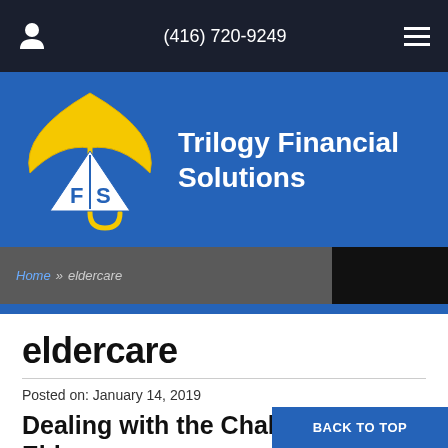(416) 720-9249
[Figure (logo): Trilogy Financial Solutions logo: yellow umbrella with FS triangle below, white text 'Trilogy Financial Solutions' on blue background]
Home » eldercare
eldercare
Posted on: January 14, 2019
Dealing with the Challenges of Eldercare